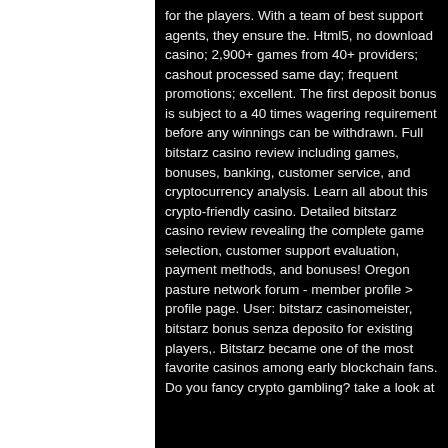for the players. With a team of best support agents, they ensure the. Html5, no download casino; 2,900+ games from 40+ providers; cashout processed same day; frequent promotions; excellent. The first deposit bonus is subject to a 40 times wagering requirement before any winnings can be withdrawn. Full bitstarz casino review including games, bonuses, banking, customer service, and cryptocurrency analysis. Learn all about this crypto-friendly casino. Detailed bitstarz casino review revealing the complete game selection, customer support evaluation, payment methods, and bonuses! Oregon pasture network forum - member profile &gt; profile page. User: bitstarz casinomeister, bitstarz bonus senza deposito for existing players,. Bitstarz became one of the most favorite casinos among early blockchain fans. Do you fancy crypto gambling? take a look at